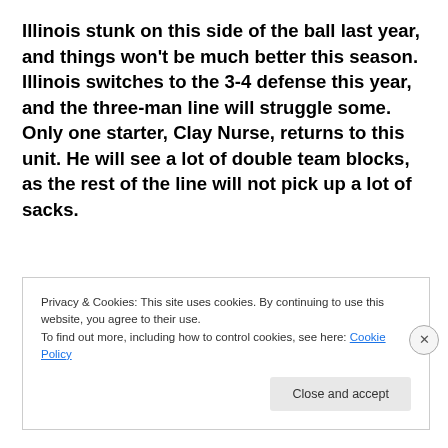Illinois stunk on this side of the ball last year, and things won't be much better this season.  Illinois switches to the 3-4 defense this year, and the three-man line will struggle some.  Only one starter, Clay Nurse, returns to this unit.  He will see a lot of double team blocks, as the rest of the line will not pick up a lot of sacks.
Privacy & Cookies: This site uses cookies. By continuing to use this website, you agree to their use.
To find out more, including how to control cookies, see here: Cookie Policy